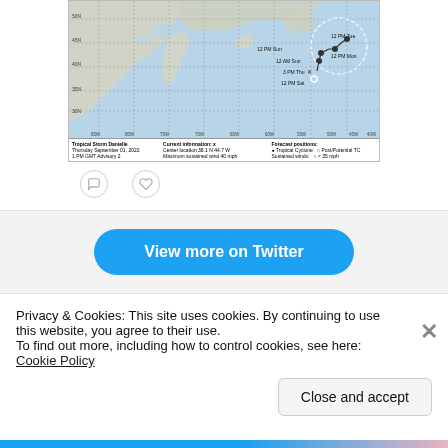[Figure (map): NOAA NHC tropical storm track map for Tropical Storm Danielle, Thursday September 01, 2022, 1 PM GMT Advisory 2. Shows forecast track positions over Atlantic Ocean. Current location 38.1N 44.7W, maximum sustained wind 40 mph. Forecast positions show track looping north. Labels: 12 PM Sat, 3 PM Thu, 12 PM Mon, 12 PM Tue, 12 AM Sun, 12 PM Sun. Map shows eastern North America and Atlantic Ocean with latitude/longitude grid.]
View more on Twitter
Privacy & Cookies: This site uses cookies. By continuing to use this website, you agree to their use.
To find out more, including how to control cookies, see here: Cookie Policy
Close and accept